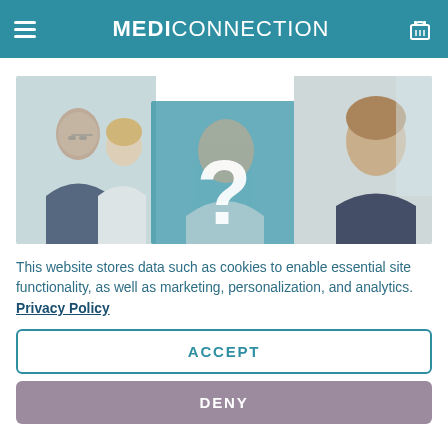MEDICONNECTION
[Figure (photo): Group of medical professionals in a meeting/consultation setting, with a semi-transparent teal overlay and a large white question mark in the center.]
This website stores data such as cookies to enable essential site functionality, as well as marketing, personalization, and analytics. Privacy Policy
ACCEPT
DENY